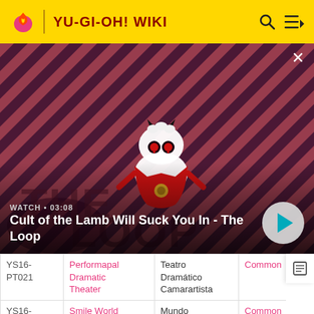YU-GI-OH! WIKI
[Figure (screenshot): Video banner showing 'Cult of the Lamb Will Suck You In - The Loop' with animated lamb character on striped red/dark background. Duration: 03:08. Watch label visible.]
| Card ID | English Name | Portuguese Name | Rarity |  |
| --- | --- | --- | --- | --- |
| YS16-PT021 | Performapal Dramatic Theater | Teatro Dramático Camarartista | Common |  |
| YS16-PT022 | Smile World | Mundo Sorridente | Common |  |